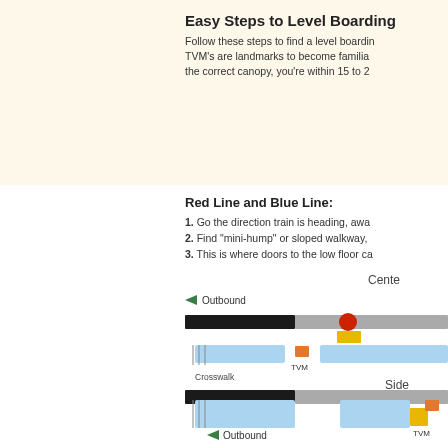Easy Steps to Level Boarding
Follow these steps to find a level boarding. TVM's are landmarks to become familiar with. Once under the correct canopy, you're within 15 to 20 feet of the doors.
Red Line and Blue Line:
1. Go the direction train is heading, away from the end of the platform.
2. Find "mini-hump" or sloped walkway, or TVM (Ticket Vending Machine).
3. This is where doors to the low floor cars stop.
[Figure (infographic): Center platform diagram showing Outbound direction arrow, train track layout with crosswalk, TVM marker, and a red circle indicating the low-floor door location on the platform.]
[Figure (infographic): Side platform diagram showing Outbound direction arrow, train and platform layout with TVM marker.]